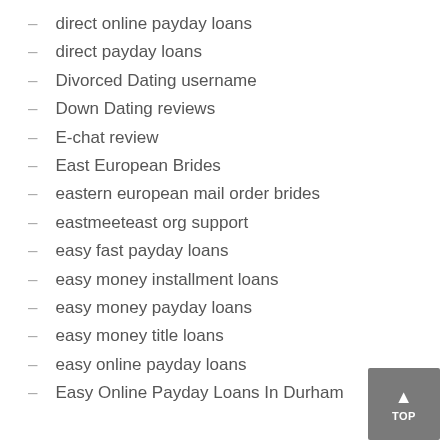direct online payday loans
direct payday loans
Divorced Dating username
Down Dating reviews
E-chat review
East European Brides
eastern european mail order brides
eastmeeteast org support
easy fast payday loans
easy money installment loans
easy money payday loans
easy money title loans
easy online payday loans
Easy Online Payday Loans In Durham